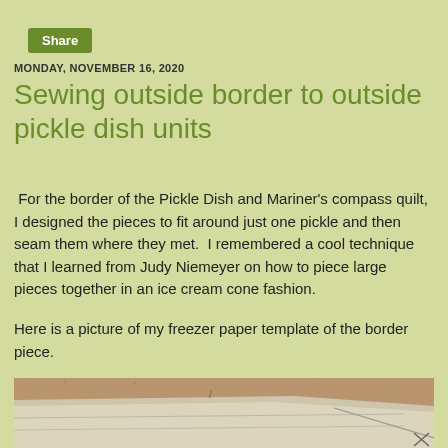Share
MONDAY, NOVEMBER 16, 2020
Sewing outside border to outside pickle dish units
For the border of the Pickle Dish and Mariner's compass quilt, I designed the pieces to fit around just one pickle and then seam them where they met.  I remembered a cool technique that I learned from Judy Niemeyer on how to piece large pieces together in an ice cream cone fashion.
Here is a picture of my freezer paper template of the border piece.
[Figure (photo): Photo of a freezer paper template of the border piece, showing a large piece of paper with diagonal lines/markings on a fabric surface.]